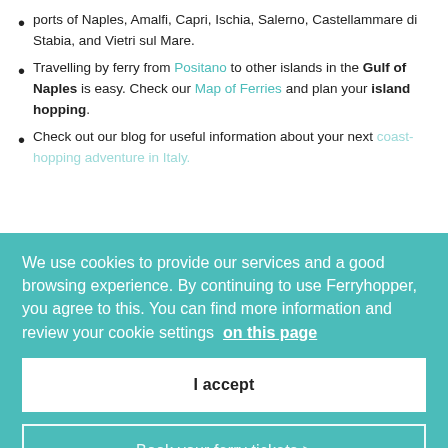ports of Naples, Amalfi, Capri, Ischia, Salerno, Castellammare di Stabia, and Vietri sul Mare.
Travelling by ferry from Positano to other islands in the Gulf of Naples is easy. Check our Map of Ferries and plan your island hopping.
Check out our blog for useful information about your next coast-hopping adventure in Italy.
Where to take the ferry from Positano to Sorrento
Ferries from Positano to Sorrento dock at the port of Marina Piccola, which is located close to Sorrento's historical center. There, you can find bars, restaurants, shops and several paid parking lots for long or short-term stays.
We use cookies to provide our services and a good browsing experience. By continuing to use Ferryhopper, you agree to this. You can find more information and review your cookie settings on this page
I accept
Book your ferry tickets >